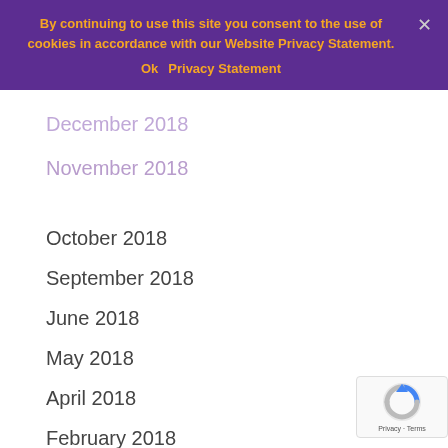By continuing to use this site you consent to the use of cookies in accordance with our Website Privacy Statement.
Ok   Privacy Statement
December 2018
November 2018
October 2018
September 2018
June 2018
May 2018
April 2018
February 2018
October 2017
September 2017
August 2017
June 2017
March 2017
February 2017